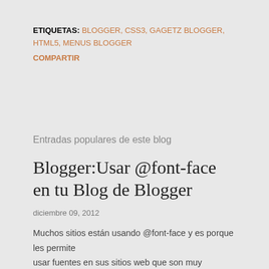ETIQUETAS: BLOGGER, CSS3, GAGETZ BLOGGER, HTML5, MENUS BLOGGER
COMPARTIR
Entradas populares de este blog
Blogger:Usar @font-face en tu Blog de Blogger
diciembre 09, 2012
Muchos sitios están usando @font-face y es porque les permite usar fuentes en sus sitios web que son muy creativas y dan más